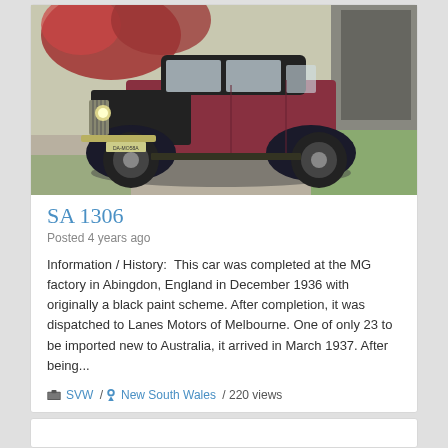[Figure (photo): Vintage 1930s MG automobile, dark maroon and black two-tone paint, parked in a driveway in front of a garage, with trees in the background.]
SA 1306
Posted 4 years ago
Information / History:  This car was completed at the MG factory in Abingdon, England in December 1936 with originally a black paint scheme. After completion, it was dispatched to Lanes Motors of Melbourne. One of only 23 to be imported new to Australia, it arrived in March 1937. After being...
SVW / New South Wales / 220 views